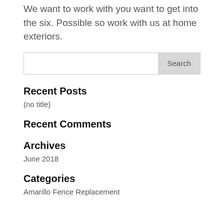We want to work with you want to get into the six. Possible so work with us at home exteriors.
Search
Recent Posts
(no title)
Recent Comments
Archives
June 2018
Categories
Amarillo Fence Replacement